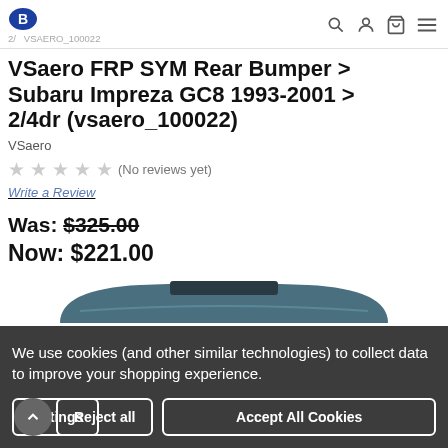B / VSAERO_100022
VSaero FRP SYM Rear Bumper > Subaru Impreza GC8 1993-2001 > 2/4dr (vsaero_100022)
VSaero
★ ★ ★ ★ ★ (No reviews yet)
Write a Review
Was: $325.00
Now: $221.00
[Figure (photo): Top portion of a dark teal/blue Subaru rear bumper product image]
We use cookies (and other similar technologies) to collect data to improve your shopping experience.
Settings | Reject all | Accept All Cookies